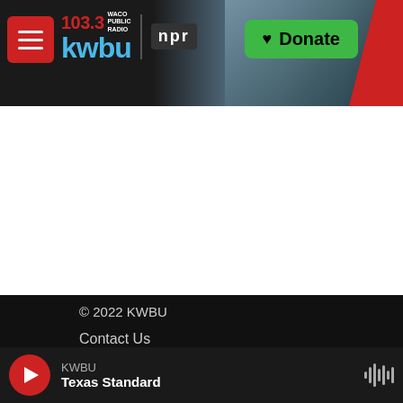[Figure (screenshot): KWBU 103.3 radio station website header with logo, NPR badge, and Donate button over a photo of industrial/bridge structures]
© 2022 KWBU
Contact Us
103.3 KWBU-FM, 2100 River Street, Waco TX 76706
254-710-3472
KWBU
Texas Standard